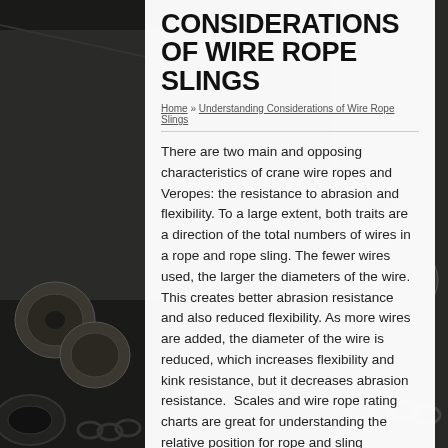[Figure (photo): Industrial warehouse background with large spools of wire rope/cable on the left and right sides, with anchor chain in the foreground]
CONSIDERATIONS OF WIRE ROPE SLINGS
Home » Understanding Considerations of Wire Rope Slings
There are two main and opposing characteristics of crane wire ropes and Veropes: the resistance to abrasion and flexibility. To a large extent, both traits are a direction of the total numbers of wires in a rope and rope sling. The fewer wires used, the larger the diameters of the wire. This creates better abrasion resistance and also reduced flexibility. As more wires are added, the diameter of the wire is reduced, which increases flexibility and kink resistance, but it decreases abrasion resistance.  Scales and wire rope rating charts are great for understanding the relative position for rope and sling construction. This is a great way to understand both flexibility and abrasion